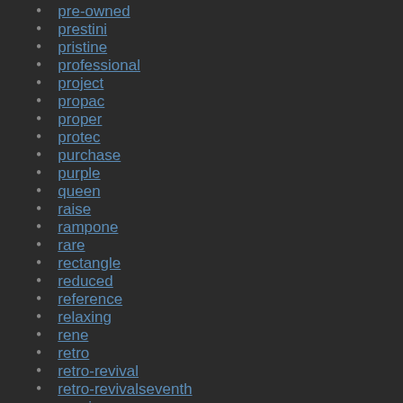pre-owned
prestini
pristine
professional
project
propac
proper
protec
purchase
purple
queen
raise
rampone
rare
rectangle
reduced
reference
relaxing
rene
retro
retro-revival
retro-revivalseventh
reunion